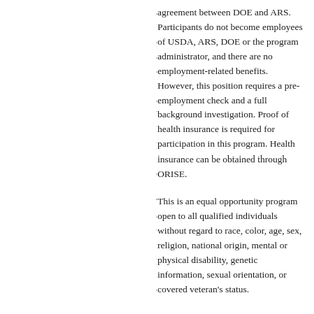agreement between DOE and ARS. Participants do not become employees of USDA, ARS, DOE or the program administrator, and there are no employment-related benefits. However, this position requires a pre-employment check and a full background investigation. Proof of health insurance is required for participation in this program. Health insurance can be obtained through ORISE.
This is an equal opportunity program open to all qualified individuals without regard to race, color, age, sex, religion, national origin, mental or physical disability, genetic information, sexual orientation, or covered veteran's status.